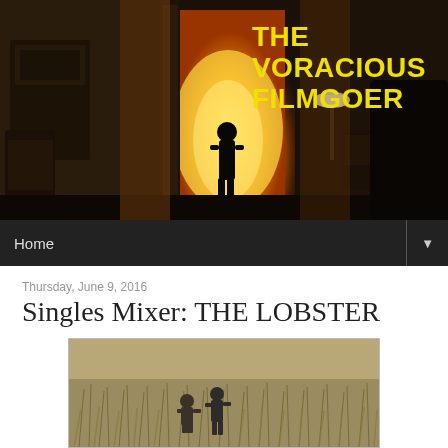[Figure (photo): Blog header banner showing a dark interior scene with a child silhouetted in a bright orange doorway, with a lamp and furniture visible, styled as a movie still]
THE VORACIOUS FILMGOER
Home ▼
Thursday, June 9, 2016
Singles Mixer: THE LOBSTER
[Figure (photo): Movie still from The Lobster showing two men in a field of tall dry grass, one crouching]